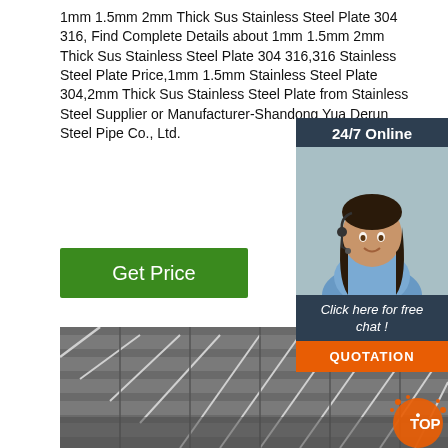1mm 1.5mm 2mm Thick Sus Stainless Steel Plate 304 316, Find Complete Details about 1mm 1.5mm 2mm Thick Sus Stainless Steel Plate 304 316,316 Stainless Steel Plate Price,1mm 1.5mm Stainless Steel Plate 304,2mm Thick Sus Stainless Steel Plate from Stainless Steel Supplier or Manufacturer-Shandong Yuan Derun Steel Pipe Co., Ltd.
Get Price
[Figure (photo): Customer service representative with headset, 24/7 Online chat widget overlay on right side]
[Figure (photo): Close-up photo of stainless steel plates/bars arranged in a grid pattern]